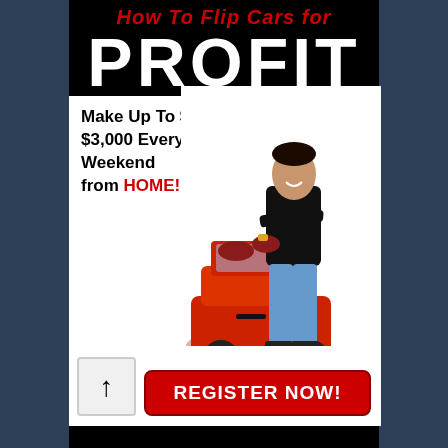How To Flip Cars for PROFIT
Make Up To $2,000 $3,000 Every Weekend from HOME!
[Figure (photo): A smiling young man in a black t-shirt and jeans leaning against a red convertible sports car]
REGISTER NOW!